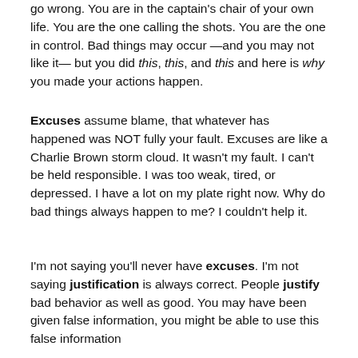go wrong. You are in the captain's chair of your own life. You are the one calling the shots. You are the one in control. Bad things may occur —and you may not like it— but you did this, this, and this and here is why you made your actions happen.
Excuses assume blame, that whatever has happened was NOT fully your fault. Excuses are like a Charlie Brown storm cloud. It wasn't my fault. I can't be held responsible. I was too weak, tired, or depressed. I have a lot on my plate right now. Why do bad things always happen to me? I couldn't help it.
I'm not saying you'll never have excuses. I'm not saying justification is always correct. People justify bad behavior as well as good. You may have been given false information, you might be able to use this false information to justify your actions, but you will still be wrong. But is it